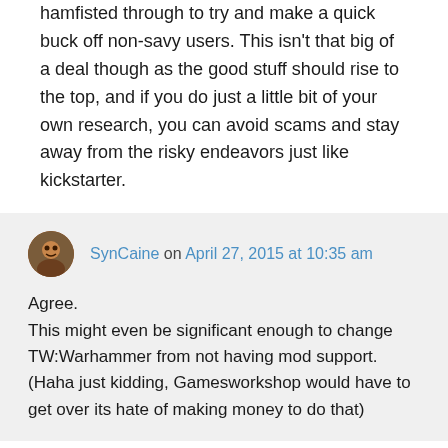hamfisted through to try and make a quick buck off non-savy users. This isn't that big of a deal though as the good stuff should rise to the top, and if you do just a little bit of your own research, you can avoid scams and stay away from the risky endeavors just like kickstarter.
SynCaine on April 27, 2015 at 10:35 am
Agree.
This might even be significant enough to change TW:Warhammer from not having mod support. (Haha just kidding, Gamesworkshop would have to get over its hate of making money to do that)